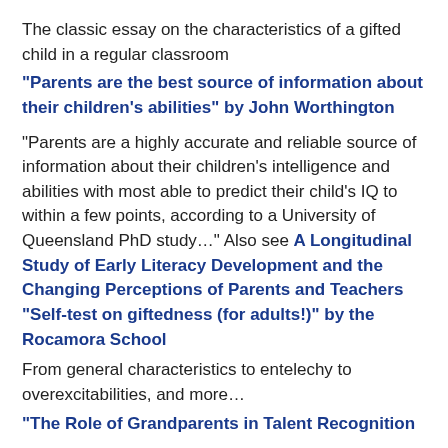The classic essay on the characteristics of a gifted child in a regular classroom
“Parents are the best source of information about their children’s abilities” by John Worthington
“Parents are a highly accurate and reliable source of information about their children’s intelligence and abilities with most able to predict their child’s IQ to within a few points, according to a University of Queensland PhD study…” Also see A Longitudinal Study of Early Literacy Development and the Changing Perceptions of Parents and Teachers “Self-test on giftedness (for adults!)” by the Rocamora School
From general characteristics to entelechy to overexcitabilities, and more…
“The Role of Grandparents in Talent Recognition